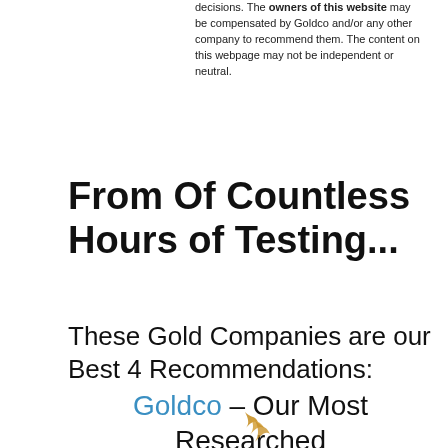decisions. The owners of this website may be compensated by Goldco and/or any other company to recommend them. The content on this webpage may not be independent or neutral.
From Of Countless Hours of Testing...
These Gold Companies are our Best 4 Recommendations:
Goldco – Our Most Researched Recommendation
[Figure (logo): Partial Goldco logo visible at bottom — golden feather/leaf swoosh graphic]